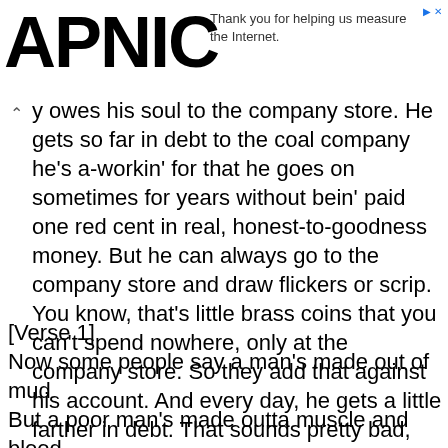APNIC — Thank you for helping us measure the Internet.
y owes his soul to the company store. He gets so far in debt to the coal company he's a-workin' for that he goes on sometimes for years without bein' paid one red cent in real, honest-to-goodness money. But he can always go to the company store and draw flickers or scrip. You know, that's little brass coins that you can't spend nowhere, only at the company store. So they add that against his account. And every day, he gets a little farther in debt. That sounds pretty bad, but even that's got a brighter side to it
[Verse 1]
Now some people say a man's made out of mud
But a poor man's made outta muscle and blood
Muscle and blood, skin and bones
A mind that's weak and a back that's strong